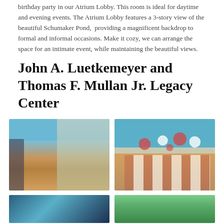birthday party in our Atrium Lobby. This room is ideal for daytime and evening events. The Atrium Lobby features a 3-story view of the beautiful Schumaker Pond,  providing a magnificent backdrop to formal and informal occasions. Make it cozy, we can arrange the space for an intimate event, while maintaining the beautiful views.
John A. Luetkemeyer and Thomas F. Mullan Jr. Legacy Center
[Figure (photo): Interior of a large event hall with wooden floors, blue walls, large windows, and wood beam ceiling. Empty room with a TV on the wall.]
[Figure (photo): Interior of an event hall decorated for a party with red and white balloons hanging from the ceiling. Tables set with red and white linens and dark chairs are arranged in rows.]
[Figure (photo): Partial view of another interior space at the facility, showing blue walls and architectural elements.]
[Figure (photo): Partial view of an outdoor or windowed area showing green trees/foliage.]